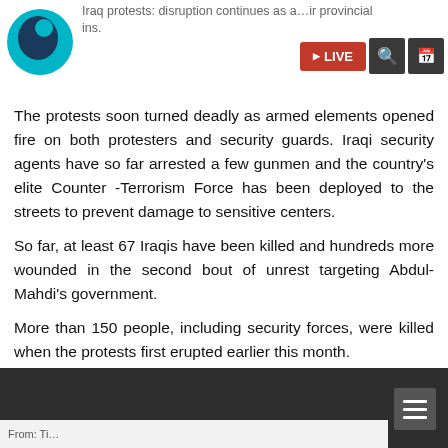[Figure (logo): News channel logo — circular teal icon with dark silhouette]
Iraq protests: disruption continues as a...ir provincial ins.
[Figure (screenshot): Navigation bar with LIVE button (red), search icon, and calendar icon]
The protests soon turned deadly as armed elements opened fire on both protesters and security guards. Iraqi security agents have so far arrested a few gunmen and the country's elite Counter -Terrorism Force has been deployed to the streets to prevent damage to sensitive centers.
So far, at least 67 Iraqis have been killed and hundreds more wounded in the second bout of unrest targeting Abdul-Mahdi's government.
More than 150 people, including security forces, were killed when the protests first erupted earlier this month.
Iraq's most prominent Shia cleric Grand Ayatollah Ali al-Sistani has also called on Baghdad to probe the deaths in the previous round of unrest and address people's demands.